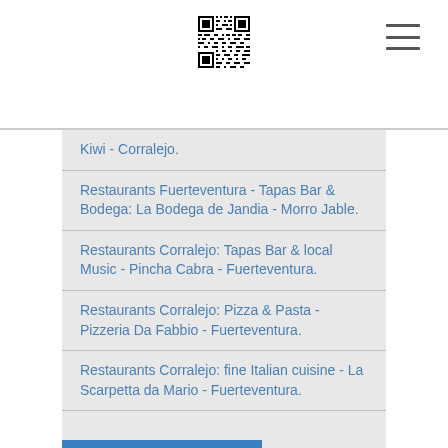[Figure (other): QR code in page header center]
Kiwi - Corralejo.
Restaurants Fuerteventura - Tapas Bar & Bodega: La Bodega de Jandia - Morro Jable.
Restaurants Corralejo: Tapas Bar & local Music - Pincha Cabra - Fuerteventura.
Restaurants Corralejo: Pizza & Pasta - Pizzeria Da Fabbio - Fuerteventura.
Restaurants Corralejo: fine Italian cuisine - La Scarpetta da Mario - Fuerteventura.
Bars Morro Jable: Tapas Bar La Parada - Fuerteventura.